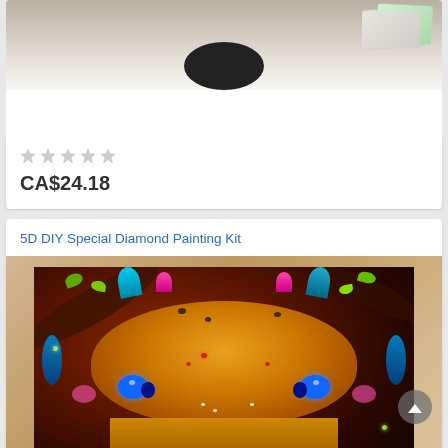[Figure (photo): Top portion of a product card showing a cropped photo of books and decorative items on a light background, with a dark oval object at bottom]
★★★★★
CA$24.18
5D DIY Special Diamond Painting Kit
[Figure (photo): Diamond painting kit product image showing a colorful leopard/cheetah face with blue eyes, decorated with rhinestones and beads in vibrant colors (blue, red, yellow, green, purple), mounted in a light wood frame]